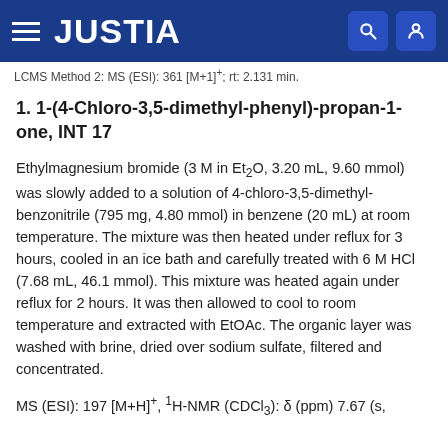JUSTIA
LCMS Method 2: MS (ESI): 361 [M+1]+; rt: 2.131 min.
1. 1-(4-Chloro-3,5-dimethyl-phenyl)-propan-1-one, INT 17
Ethylmagnesium bromide (3 M in Et2O, 3.20 mL, 9.60 mmol) was slowly added to a solution of 4-chloro-3,5-dimethyl-benzonitrile (795 mg, 4.80 mmol) in benzene (20 mL) at room temperature. The mixture was then heated under reflux for 3 hours, cooled in an ice bath and carefully treated with 6 M HCl (7.68 mL, 46.1 mmol). This mixture was heated again under reflux for 2 hours. It was then allowed to cool to room temperature and extracted with EtOAc. The organic layer was washed with brine, dried over sodium sulfate, filtered and concentrated.
MS (ESI): 197 [M+H]+, 1H-NMR (CDCl3): δ (ppm) 7.67 (s,